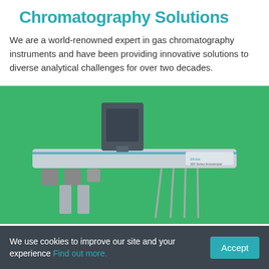Chromatography Solutions
We are a world-renowned expert in gas chromatography instruments and have been providing innovative solutions to diverse analytical challenges for over two decades.
[Figure (photo): Photo of a Ellutia 900 Series Autosampler instrument on a green background. The device is a silver/grey horizontal rail with a dark grey robotic injection head mounted on top, with sample vial holders and tubing visible below.]
We use cookies to improve our site and your experience Find out more.